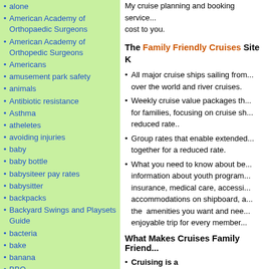alone
American Academy of Orthopaedic Surgeons
American Academy of Orthopedic Surgeons
Americans
amusement park safety
animals
Antibiotic resistance
Asthma
atheletes
avoiding injuries
baby
baby bottle
babysiteer pay rates
babysitter
backpacks
Backyard Swings and Playsets Guide
bacteria
bake
banana
BBQ
bed time
bedtime
bedtime routines
My cruise planning and booking service... cost to you.
The Family Friendly Cruises Site K
All major cruise ships sailing from... over the world and river cruises.
Weekly cruise value packages th... for families, focusing on cruise sh... reduced rate..
Group rates that enable extended... together for a reduced rate.
What you need to know about be... information about youth program... insurance, medical care, accessi... accommodations on shipboard, a... the amenities you want and nee... enjoyable trip for every member...
What Makes Cruises Family Friend...
Cruising is a cost-effective va... cruise is often more cost-effective... land resort vacation because mo... costs are included in the per pers... for the cruise, including:
Sea activities: Throughout the t...